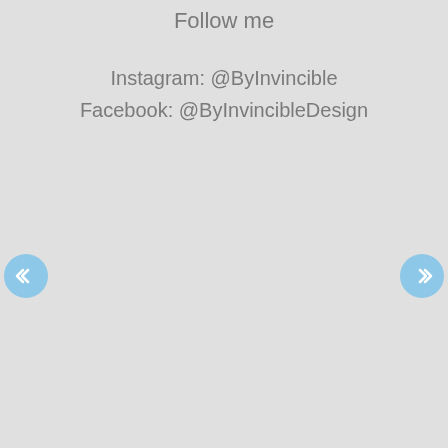Follow me
Instagram: @ByInvincible
Facebook: @ByInvincibleDesign
[Figure (other): Left navigation arrow button (blue circle with double left chevron)]
[Figure (other): Right navigation arrow button (blue circle with double right chevron)]